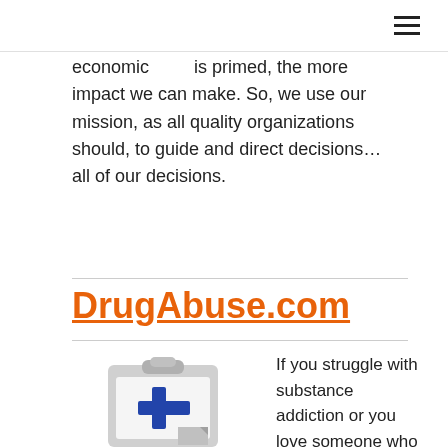economic      is primed, the more impact we can make. So, we use our mission, as all quality organizations should, to guide and direct decisions… all of our decisions.
DrugAbuse.com
[Figure (illustration): Clipboard icon with a blue medical cross symbol and a folded page corner at the bottom.]
If you struggle with substance addiction or you love someone who is, you know how crushing it can be. Addiction has the